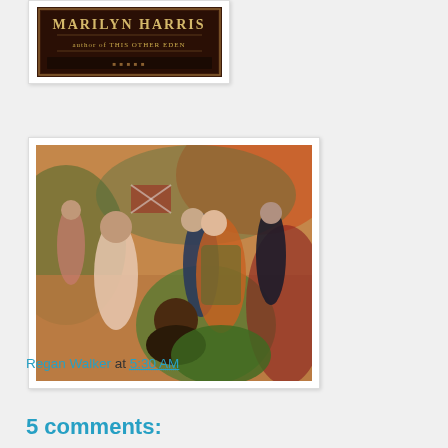[Figure (photo): Book cover by Marilyn Harris, author of This Other Eden — dark ornate background with stylized text]
[Figure (illustration): Painting of a group of Victorian-era figures in a garden or outdoor scene; a woman in an orange-green dress at center, flanked by men in formal attire, with other figures in the background]
Regan Walker at 5:30 AM
Share
5 comments: